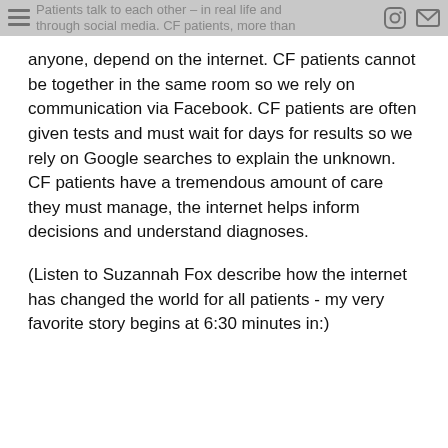Patients talk to each other – in real life and through social media. CF patients, more than
anyone, depend on the internet. CF patients cannot be together in the same room so we rely on communication via Facebook. CF patients are often given tests and must wait for days for results so we rely on Google searches to explain the unknown. CF patients have a tremendous amount of care they must manage, the internet helps inform decisions and understand diagnoses.
(Listen to Suzannah Fox describe how the internet has changed the world for all patients - my very favorite story begins at 6:30 minutes in:)